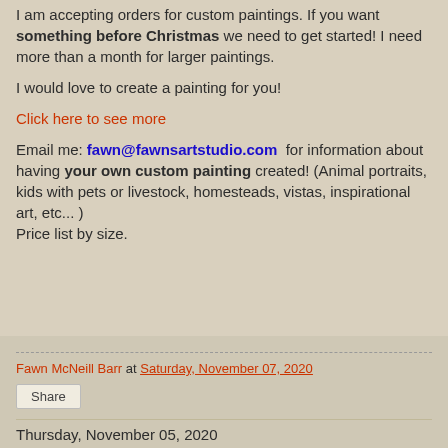I am accepting orders for custom paintings. If you want something before Christmas we need to get started! I need more than a month for larger paintings.
I would love to create a painting for you!
Click here to see more
Email me: fawn@fawnsartstudio.com for information about having your own custom painting created! (Animal portraits, kids with pets or livestock, homesteads, vistas, inspirational art, etc... ) Price list by size.
Fawn McNeill Barr at Saturday, November 07, 2020 Share Thursday, November 05, 2020